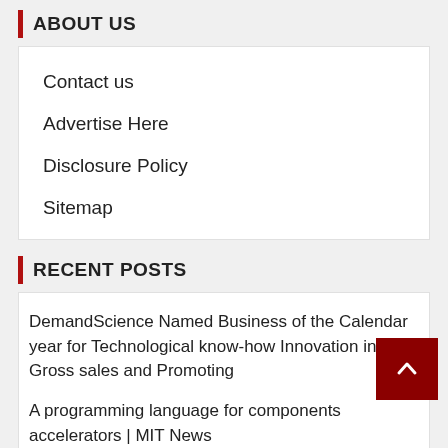ABOUT US
Contact us
Advertise Here
Disclosure Policy
Sitemap
RECENT POSTS
DemandScience Named Business of the Calendar year for Technological know-how Innovation in B2B Gross sales and Promoting
A programming language for components accelerators | MIT News
SMCI Inventory Jumps On Lifted Direction Amid S Computer Server Demand from customers
Things to Consider Before Buying a Gaming